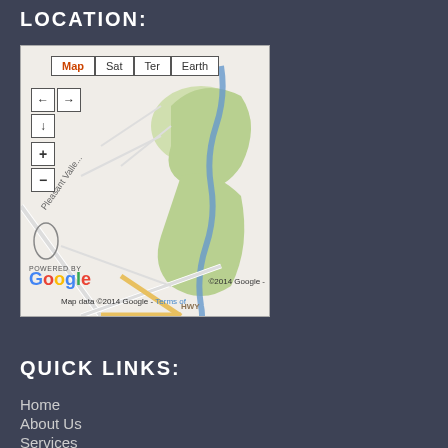LOCATION:
[Figure (map): Google Map showing an area with Pleasant Valley road, a winding blue river/creek through green spaces, and suburban streets. Map controls include Map/Sat/Ter/Earth tabs and navigation/zoom buttons. Shows 'POWERED BY Google' logo, '©2014 Google -' and 'Map data ©2014 Google - Terms of' attribution.]
QUICK LINKS:
Home
About Us
Services